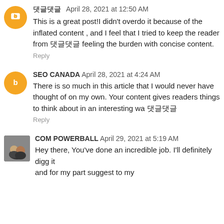댓글 April 28, 2021 at 12:50 AM
This is a great post!I didn't overdo it because of the inflated content , and I feel that I tried to keep the reader from 댓글 feeling the burden with concise content.
Reply
SEO CANADA April 28, 2021 at 4:24 AM
There is so much in this article that I would never have thought of on my own. Your content gives readers things to think about in an interesting wa 댓글
Reply
COM POWERBALL April 29, 2021 at 5:19 AM
Hey there, You've done an incredible job. I'll definitely digg it
and for my part suggest to my